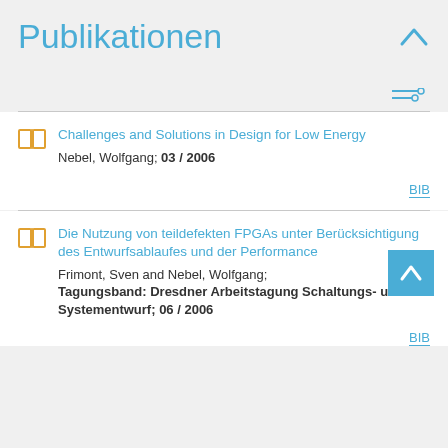Publikationen
Challenges and Solutions in Design for Low Energy
Nebel, Wolfgang; 03 / 2006
Die Nutzung von teildefekten FPGAs unter Berücksichtigung des Entwurfsablaufes und der Performance
Frimont, Sven and Nebel, Wolfgang; Tagungsband: Dresdner Arbeitstagung Schaltungs- und Systementwurf; 06 / 2006